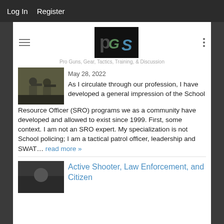Log In   Register
[Figure (logo): PGS logo — stylized P, G, S letters in green/blue on black background]
Pro Guns, Gear, Tactics, Training, & Discussion
[Figure (photo): Military/tactical personnel in camouflage gear with rifles]
May 28, 2022
As I circulate through our profession, I have developed a general impression of the School Resource Officer (SRO) programs we as a community have developed and allowed to exist since 1999. First, some context. I am not an SRO expert. My specialization is not School policing; I am a tactical patrol officer, leadership and SWAT… read more »
[Figure (photo): Tactical/active shooter scenario image]
Active Shooter, Law Enforcement, and Citizen